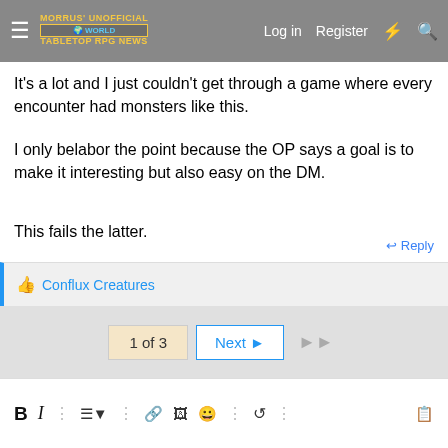Morrus' Unofficial Tabletop RPG News | Log in  Register
It's a lot and I just couldn't get through a game where every encounter had monsters like this.
I only belabor the point because the OP says a goal is to make it interesting but also easy on the DM.
This fails the latter.
↩ Reply
👍 Conflux Creatures
1 of 3  Next ▶  ▶▶
B I ⋮ ☰▾ ⋮ 🔗 🖼 😊 ⋮ ↺ ⋮ 📋